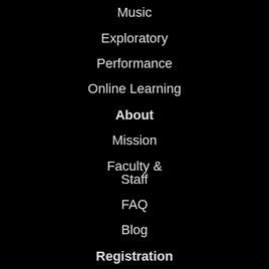Music
Exploratory
Performance
Online Learning
About
Mission
Faculty & Staff
FAQ
Blog
Registration